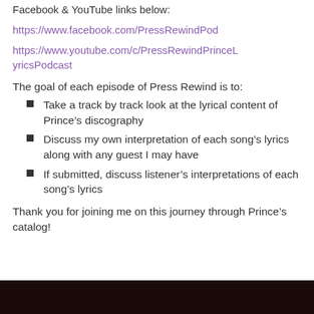Facebook & YouTube links below:
https://www.facebook.com/PressRewindPod
https://www.youtube.com/c/PressRewindPrinceLyricsPodcast
The goal of each episode of Press Rewind is to:
Take a track by track look at the lyrical content of Prince’s discography
Discuss my own interpretation of each song’s lyrics along with any guest I may have
If submitted, discuss listener’s interpretations of each song’s lyrics
Thank you for joining me on this journey through Prince’s catalog!
[Figure (screenshot): Partial view of a dark video player bar at the bottom of the page]